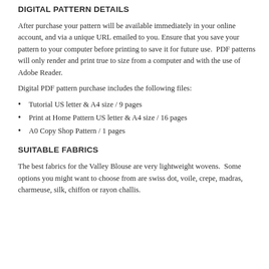DIGITAL PATTERN DETAILS
After purchase your pattern will be available immediately in your online account, and via a unique URL emailed to you. Ensure that you save your pattern to your computer before printing to save it for future use.  PDF patterns will only render and print true to size from a computer and with the use of Adobe Reader.
Digital PDF pattern purchase includes the following files:
Tutorial US letter & A4 size / 9 pages
Print at Home Pattern US letter & A4 size / 16 pages
A0 Copy Shop Pattern / 1 pages
SUITABLE FABRICS
The best fabrics for the Valley Blouse are very lightweight wovens.  Some options you might want to choose from are swiss dot, voile, crepe, madras, charmeuse, silk, chiffon or rayon challis.